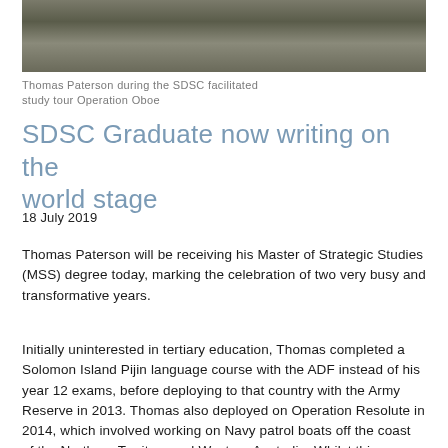[Figure (photo): Rock or rubble texture photo, dark grey and green tones, appears to be taken outdoors]
Thomas Paterson during the SDSC facilitated study tour Operation Oboe
SDSC Graduate now writing on the world stage
18 July 2019
Thomas Paterson will be receiving his Master of Strategic Studies (MSS) degree today, marking the celebration of two very busy and transformative years.
Initially uninterested in tertiary education, Thomas completed a Solomon Island Pijin language course with the ADF instead of his year 12 exams, before deploying to that country with the Army Reserve in 2013. Thomas also deployed on Operation Resolute in 2014, which involved working on Navy patrol boats off the coast of the Northern Territory and Western Australia. Whilst this practical